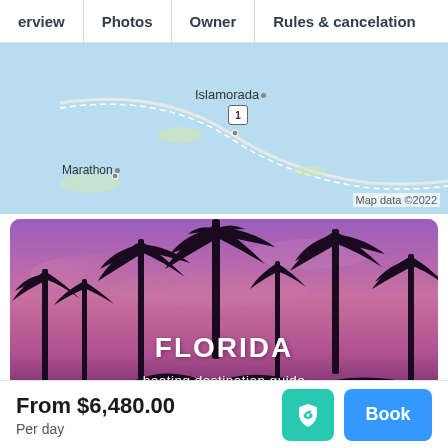erview | Photos | Owner | Rules & cancelation
[Figure (map): Map showing Florida Keys area with Islamorada and Marathon labeled, route 1 visible, blue water background. Map data ©2022]
[Figure (photo): Palm tree silhouettes against purple-pink sunset sky with text overlay: FLORIDA boating destination guide]
From $6,480.00
Per day